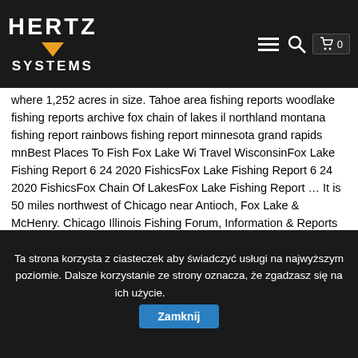Hertz Systems [logo with hamburger menu, search, and cart icons]
where 1,252 acres in size. Tahoe area fishing reports woodlake fishing reports archive fox chain of lakes il northland montana fishing report rainbows fishing report minnesota grand rapids mnBest Places To Fish Fox Lake Wi Travel WisconsinFox Lake Fishing Report 6 24 2020 FishicsFox Lake Fishing Report 6 24 2020 FishicsFox Chain Of LakesFox Lake Fishing Report … It is 50 miles northwest of Chicago near Antioch, Fox Lake & McHenry. Chicago Illinois Fishing Forum, Information & Reports > Rivers: Fox River Fishing User Name: Remember Me? Bright colors seem to be better Can't buy fish on plastic. About Fishing Reports for Fox Lake near Fox Lake A detailed fishing report for the Fox Lake will make the difference between a good fishing here and a bad one. WINDS NORTHWEST @ 12MPH. Fox Lake, IL; Fishing ; Fly Fishing Zen: Getting Started with Tenkara Try out this 200-year-old technique. and he wore it out over about 20 mins time. Largemouth Bass with a
Ta strona korzysta z ciasteczek aby świadczyć usługi na najwyższym poziomie. Dalsze korzystanie ze strony oznacza, że zgadzasz się na ich użycie. Zamknij